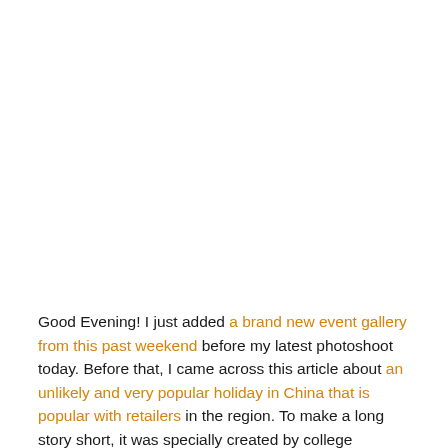Good Evening! I just added a brand new event gallery from this past weekend before my latest photoshoot today. Before that, I came across this article about an unlikely and very popular holiday in China that is popular with retailers in the region. To make a long story short, it was specially created by college students as their version of Single Awareness Day. For a more current American holiday, Subaru is holding a special day for the underdogs 2 weeks from now. Here's a video from last weekend's